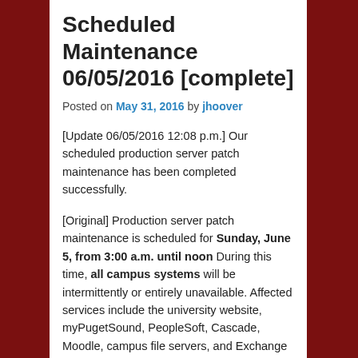Scheduled Maintenance 06/05/2016 [complete]
Posted on May 31, 2016 by jhoover
[Update 06/05/2016 12:08 p.m.] Our scheduled production server patch maintenance has been completed successfully.
[Original] Production server patch maintenance is scheduled for Sunday, June 5, from 3:00 a.m. until noon During this time, all campus systems will be intermittently or entirely unavailable. Affected services include the university website, myPugetSound, PeopleSoft, Cascade, Moodle, campus file servers, and Exchange (email and calendar). An update will be posted once this maintenance is completed.
Technology Services schedules regular maintenance windows, generally on the second Sunday of every month, to ensure a secure, reliable computing